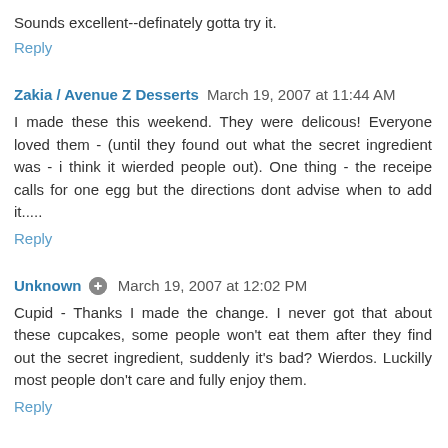Sounds excellent--definately gotta try it.
Reply
Zakia / Avenue Z Desserts  March 19, 2007 at 11:44 AM
I made these this weekend. They were delicous! Everyone loved them - (until they found out what the secret ingredient was - i think it wierded people out). One thing - the receipe calls for one egg but the directions dont advise when to add it.....
Reply
Unknown  March 19, 2007 at 12:02 PM
Cupid - Thanks I made the change. I never got that about these cupcakes, some people won't eat them after they find out the secret ingredient, suddenly it's bad? Wierdos. Luckilly most people don't care and fully enjoy them.
Reply